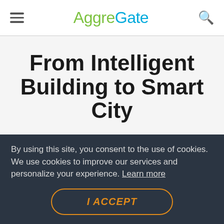AggreGate
From Intelligent Building to Smart City
The distributed architecture, high performance, along with data mining and orchestration capabilities of the platform
By using this site, you consent to the use of cookies. We use cookies to improve our services and personalize your experience. Learn more
I ACCEPT